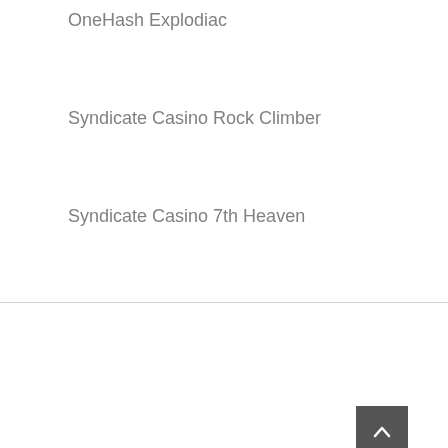OneHash Explodiac
Syndicate Casino Rock Climber
Syndicate Casino 7th Heaven
We use cookies on our website to give you the most relevant experience by remembering your preferences and repeat visits. By clicking “Accept”, you consent to the use of ALL the cookies.
Cookie settings
ACCEPT